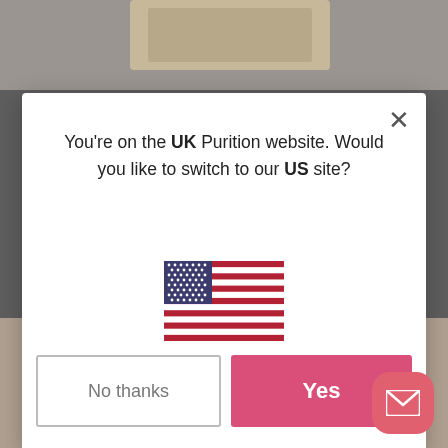[Figure (screenshot): Background page showing Purition product packaging, dimmed behind a modal dialog]
You're on the UK Purition website. Would you like to switch to our US site?
[Figure (illustration): US flag illustration]
No thanks
Yes